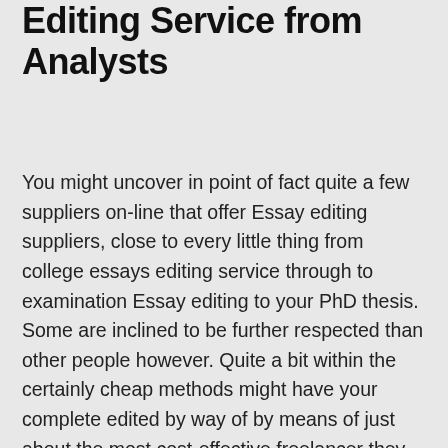Editing Service from Analysts
You might uncover in point of fact quite a few suppliers on-line that offer Essay editing suppliers, close to every little thing from college essays editing service through to examination Essay editing to your PhD thesis. Some are inclined to be further respected than other people however. Quite a bit within the certainly cheap methods might have your complete edited by way of by means of just about the most cost-effective freelancer they are allowed to utilize the service of; this might quite often indicate anyone which might